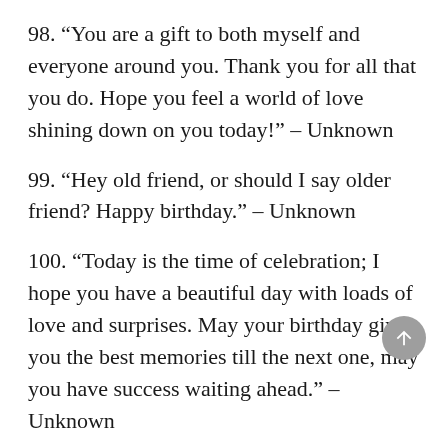98. “You are a gift to both myself and everyone around you. Thank you for all that you do. Hope you feel a world of love shining down on you today!” – Unknown
99. “Hey old friend, or should I say older friend? Happy birthday.” – Unknown
100. “Today is the time of celebration; I hope you have a beautiful day with loads of love and surprises. May your birthday gives you the best memories till the next one, may you have success waiting ahead.” – Unknown
101. “Happy Birthday to the friend I couldn’t live without!” – Unknown
102. “Thank you for all the laughs, silliness, and